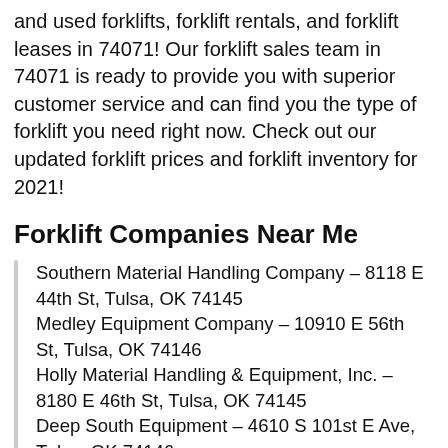and used forklifts, forklift rentals, and forklift leases in 74071! Our forklift sales team in 74071 is ready to provide you with superior customer service and can find you the type of forklift you need right now. Check out our updated forklift prices and forklift inventory for 2021!
Forklift Companies Near Me
Southern Material Handling Company – 8118 E 44th St, Tulsa, OK 74145
Medley Equipment Company – 10910 E 56th St, Tulsa, OK 74146
Holly Material Handling & Equipment, Inc. – 8180 E 46th St, Tulsa, OK 74145
Deep South Equipment – 4610 S 101st E Ave, Tulsa, OK 74146
All American Forklift – 6655 S 65th W Ave, Tulsa, OK 74131